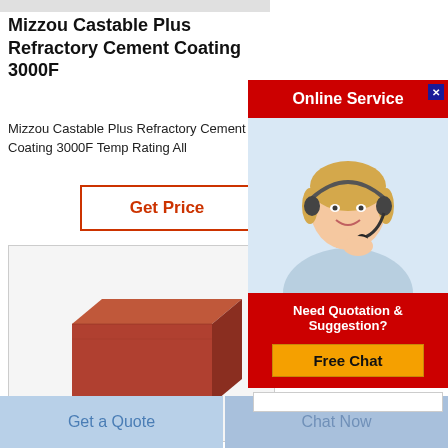Mizzou Castable Plus Refractory Cement Coating 3000F
Mizzou Castable Plus Refractory Cement Coating 3000F Temp Rating All
Get Price
[Figure (photo): Red/brown refractory brick viewed at angle on light background]
Calc Boa
Calci are d
[Figure (photo): Online service popup with female customer service agent wearing headset, red Online Service header, Need Quotation & Suggestion text, and Free Chat button]
Get a Quote
Chat Now